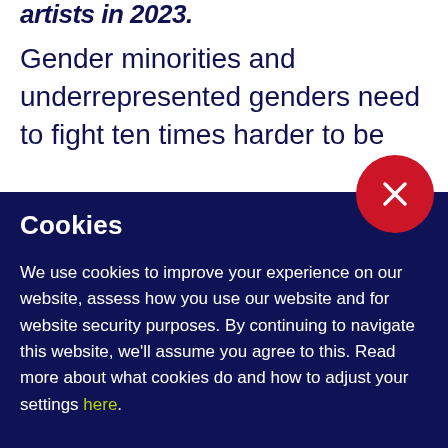artists in 2023.
Gender minorities and underrepresented genders need to fight ten times harder to be professionally recognised in a gi...
Cookies
We use cookies to improve your experience on our website, assess how you use our website and for website security purposes. By continuing to navigate this website, we'll assume you agree to this. Read more about what cookies do and how to adjust your settings here.